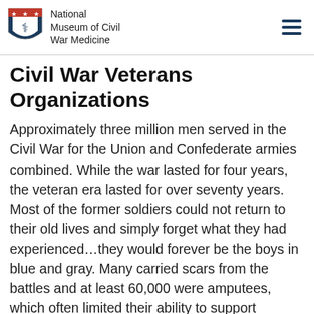National Museum of Civil War Medicine
Civil War Veterans Organizations
Approximately three million men served in the Civil War for the Union and Confederate armies combined. While the war lasted for four years, the veteran era lasted for over seventy years. Most of the former soldiers could not return to their old lives and simply forget what they had experienced…they would forever be the boys in blue and gray. Many carried scars from the battles and at least 60,000 were amputees, which often limited their ability to support themselves. Many more suffered health problems like chronic diarrhea, which would affect them for the